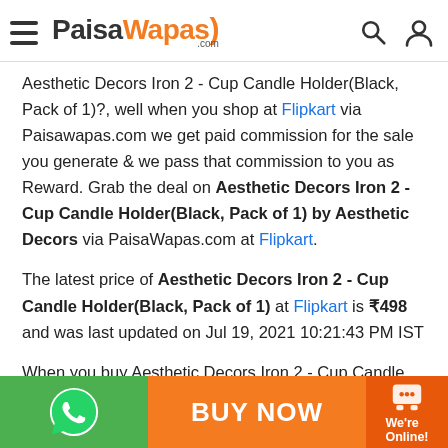PaisaWapas.com
Aesthetic Decors Iron 2 - Cup Candle Holder(Black, Pack of 1)?, well when you shop at Flipkart via Paisawapas.com we get paid commission for the sale you generate & we pass that commission to you as Reward. Grab the deal on Aesthetic Decors Iron 2 - Cup Candle Holder(Black, Pack of 1) by Aesthetic Decors via PaisaWapas.com at Flipkart.
The latest price of Aesthetic Decors Iron 2 - Cup Candle Holder(Black, Pack of 1) at Flipkart is ₹498 and was last updated on Jul 19, 2021 10:21:43 PM IST
When you buy Aesthetic Decors Iron 2 - Cup Candle Holder(Black, Pack of 1) from Flipkart via Paisawapas.com your effective price after Reward will be ₹498 (+ee E...